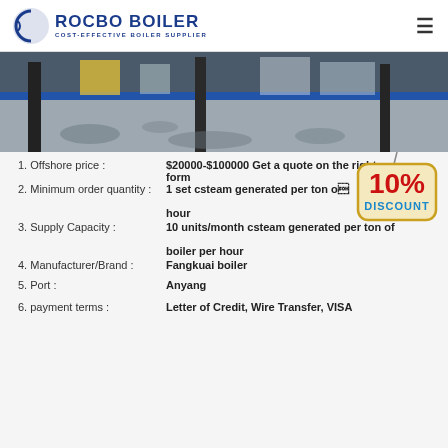ROCBO BOILER COST-EFFECTIVE BOILER SUPPLIER
[Figure (photo): Industrial boiler facility interior showing concrete floor with puddles, metal pillars, and industrial equipment in the background with a blue accent wall strip.]
1. Offshore price : $20000-$100000 Get a quote on the right form
2. Minimum order quantity : 1 set сsteam generated per ton of hour
3. Supply Capacity : 10 units/month сsteam generated per ton of boiler per hour
4. Manufacturer/Brand : Fangkuai boiler
5. Port : Anyang
6. payment terms : Letter of Credit, Wire Transfer, VISA